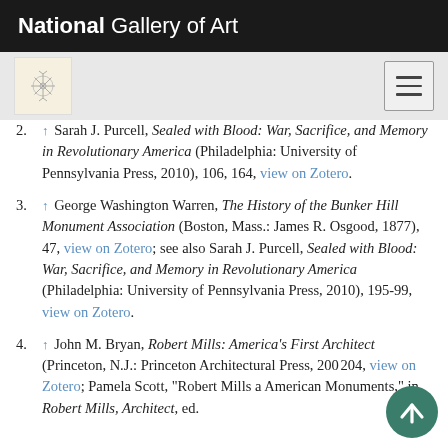National Gallery of Art
2. ↑ Sarah J. Purcell, Sealed with Blood: War, Sacrifice, and Memory in Revolutionary America (Philadelphia: University of Pennsylvania Press, 2010), 106, 164, view on Zotero.
3. ↑ George Washington Warren, The History of the Bunker Hill Monument Association (Boston, Mass.: James R. Osgood, 1877), 47, view on Zotero; see also Sarah J. Purcell, Sealed with Blood: War, Sacrifice, and Memory in Revolutionary America (Philadelphia: University of Pennsylvania Press, 2010), 195-99, view on Zotero.
4. ↑ John M. Bryan, Robert Mills: America's First Architect (Princeton, N.J.: Princeton Architectural Press, 200[2]), 204, view on Zotero; Pamela Scott, "Robert Mills a[nd] American Monuments," in Robert Mills, Architect, ed.